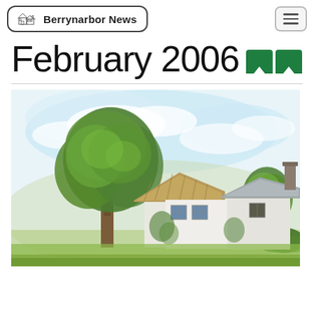Berrynarbor News
February 2006
[Figure (illustration): Watercolour illustration of a thatched English village cottage with large green trees and blue sky]